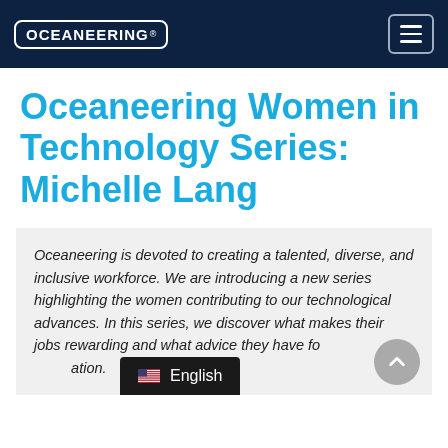OCEANEERING®
Oceaneering Women in Technology Series: Michelle Lang
Oceaneering is devoted to creating a talented, diverse, and inclusive workforce. We are introducing a new series highlighting the women contributing to our technological advances. In this series, we discover what makes their jobs rewarding and what advice they have for the next generation.